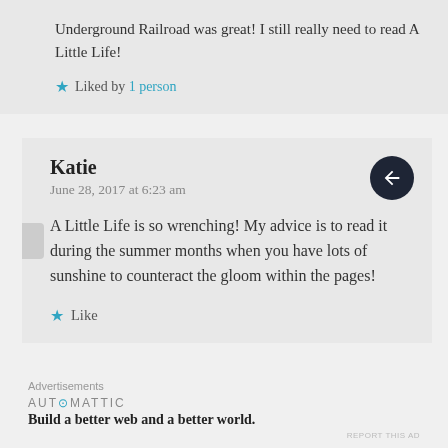Underground Railroad was great! I still really need to read A Little Life!
★ Liked by 1 person
Katie
June 28, 2017 at 6:23 am
A Little Life is so wrenching! My advice is to read it during the summer months when you have lots of sunshine to counteract the gloom within the pages!
★ Like
Advertisements
AUTOMATTIC
Build a better web and a better world.
REPORT THIS AD